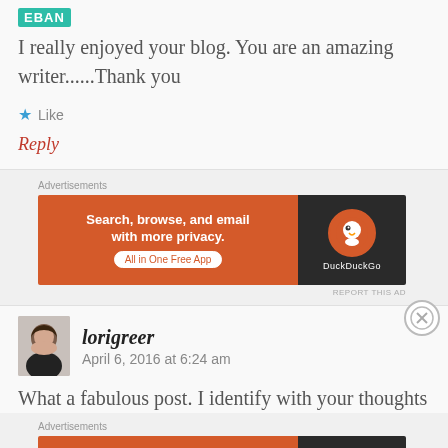[Figure (logo): EBAN green logo/badge]
I really enjoyed your blog. You are an amazing writer......Thank you
★ Like
Reply
Advertisements
[Figure (infographic): DuckDuckGo advertisement banner: Search, browse, and email with more privacy. All in One Free App]
REPORT THIS AD
[Figure (photo): Avatar photo of lorigreer - woman with dark short hair]
lorigreer   April 6, 2016 at 6:24 am
What a fabulous post. I identify with your thoughts
Advertisements
[Figure (infographic): DuckDuckGo advertisement banner: Search, browse, and email with more privacy. All in One Free App]